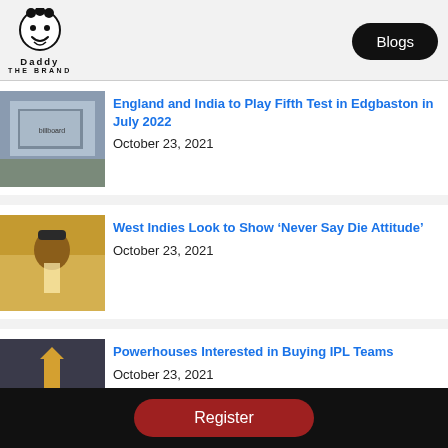[Figure (logo): Daddy The Brand logo with cartoon face icon and text]
Blogs
[Figure (photo): Cricket ground billboard photo]
England and India to Play Fifth Test in Edgbaston in July 2022
October 23, 2021
[Figure (photo): West Indies cricket player batting photo]
West Indies Look to Show ‘Never Say Die Attitude’
October 23, 2021
[Figure (photo): IPL trophy on cricket ground photo]
Powerhouses Interested in Buying IPL Teams
October 23, 2021
Register